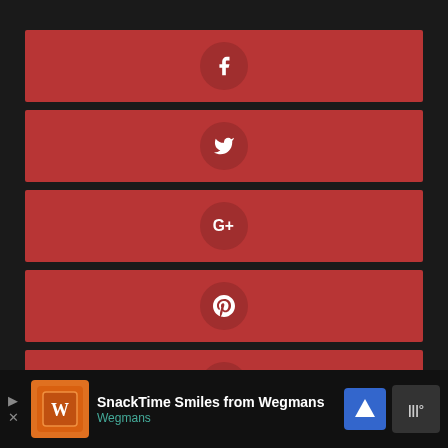[Figure (infographic): Six red social media sharing buttons stacked vertically, each a red rectangle with a darker red circle icon in the center. Icons shown: Facebook (f), Twitter (bird), Google+ (G+), Pinterest (p), Email (envelope), and a partially visible sixth button at bottom.]
[Figure (infographic): Advertisement banner at bottom: SnackTime Smiles from Wegmans ad with orange logo image, Google Maps navigation icon, and music app icon on dark background.]